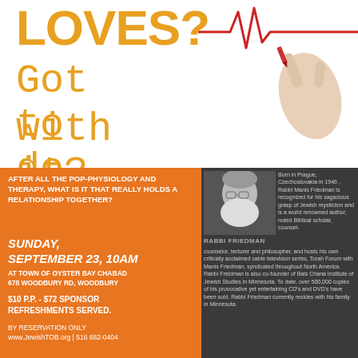LOVES? Got to do with it?
[Figure (illustration): Hand drawing a heartbeat/EKG line with a red marker, against a white background]
AFTER ALL THE POP-PHYSIOLOGY AND THERAPY, WHAT IS IT THAT REALLY HOLDS A RELATIONSHIP TOGETHER?
SUNDAY, SEPTEMBER 23, 10AM AT TOWN OF OYSTER BAY CHABAD 678 WOODBURY RD, WOODBURY
$10 P.P. - $72 SPONSOR REFRESHMENTS SERVED.
BY RESERVATION ONLY
www.JewishTOB.org | 516 682-0404
[Figure (photo): Black and white photo of Rabbi Friedman, an elderly bearded man with glasses]
RABBI FRIEDMAN
Born in Prague, Czechoslovakia in 1946 , Rabbi Manis Friedman is recognized for his sagacious grasp of Jewish mysticism and is a world renowned author, noted Biblical scholar, counselor, lecturer and philosopher, and hosts his own critically acclaimed cable television series, Torah Forum with Manis Friedman, syndicated throughout North America. Rabbi Freidman is also co-founder of Bais Chana Institute of Jewish Studies in Minnesota. To date, over 500,000 copies of his provocative yet entertaining CD's and DVD's have been sold. Rabbi Friedman currently resides with his family in Minnesota.